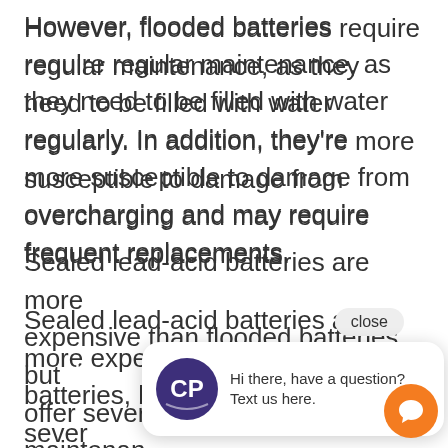However, flooded batteries require regular maintenance, as they need to be filled with water regularly. In addition, they're more susceptible to damage from overcharging and may require frequent replacements.
Sealed lead-acid batteries are more expensive than flooded batteries, but they offer sever[al advantages, including maintenance-free operation—no need to worry about filling water regularly.] They're also more resistant to damage from overcharging, making them a bett[er] choice for long-term use.
[Figure (screenshot): A chat popup widget overlaid on the page content. It shows a 'close' button at the top right, and a white rounded chat bubble containing a company logo (circular purple logo with 'CP' letters) on the left and text 'Hi there, have a question? Text us here.' on the right. Below the bubble is an orange circular chat button with a speech bubble icon.]